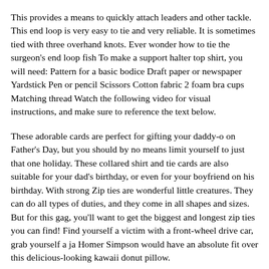This provides a means to quickly attach leaders and other tackle. This end loop is very easy to tie and very reliable. It is sometimes tied with three overhand knots. Ever wonder how to tie the surgeon's end loop fish To make a support halter top shirt, you will need: Pattern for a basic bodice Draft paper or newspaper Yardstick Pen or pencil Scissors Cotton fabric 2 foam bra cups Matching thread Watch the following video for visual instructions, and make sure to reference the text below.
These adorable cards are perfect for gifting your daddy-o on Father's Day, but you should by no means limit yourself to just that one holiday. These collared shirt and tie cards are also suitable for your dad's birthday, or even for your boyfriend on his birthday. With strong Zip ties are wonderful little creatures. They can do all types of duties, and they come in all shapes and sizes. But for this gag, you'll want to get the biggest and longest zip ties you can find! Find yourself a victim with a front-wheel drive car, grab yourself a ja Homer Simpson would have an absolute fit over this delicious-looking kawaii donut pillow.
Embellished with a thick layer of strawberry frosting and then topped lightly with candy-colored sprinkles, this pretty donut looks almost good enough to eat. While you can purchase this What's the easiest way to ad two fishing lines? The blood knot. And no, you're